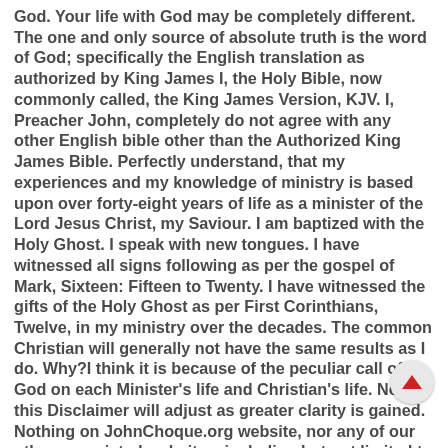God. Your life with God may be completely different. The one and only source of absolute truth is the word of God; specifically the English translation as authorized by King James I, the Holy Bible, now commonly called, the King James Version, KJV. I, Preacher John, completely do not agree with any other English bible other than the Authorized King James Bible. Perfectly understand, that my experiences and my knowledge of ministry is based upon over forty-eight years of life as a minister of the Lord Jesus Christ, my Saviour. I am baptized with the Holy Ghost. I speak with new tongues. I have witnessed all signs following as per the gospel of Mark, Sixteen: Fifteen to Twenty. I have witnessed the gifts of the Holy Ghost as per First Corinthians, Twelve, in my ministry over the decades. The common Christian will generally not have the same results as I do. Why?I think it is because of the peculiar call of God on each Minister's life and Christian's life. Now, this Disclaimer will adjust as greater clarity is gained. Nothing on JohnChoque.org website, nor any of our other associated websites, including but not limited to the church portion of this website, platform, or services, nor any portion thereof constitutes actual or implied physical, personal, spiritual, psychological, legal, health, financial, or regulatory advice, opinion, or recommendation by JohnChoque.org, or Robert John Choque, and/or all persons associated with this ministry. If any legal, medical, or financial assistance is required, users should seek the services of a competent law attorney, medical doctor, or financial representative. By using this ministry website, you agree with the Terms and Conditions, Privacy Policy, and Disclaimer. "The grace of our Lord Jesus Christ be with you all." - The Holy Bible, Book of Revelation